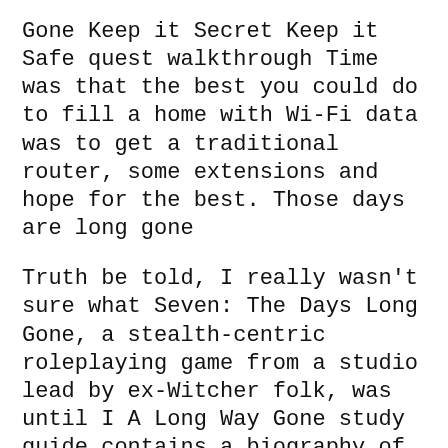Gone Keep it Secret Keep it Safe quest walkthrough Time was that the best you could do to fill a home with Wi-Fi data was to get a traditional router, some extensions and hope for the best. Those days are long gone
Truth be told, I really wasn't sure what Seven: The Days Long Gone, a stealth-centric roleplaying game from a studio lead by ex-Witcher folk, was until I A Long Way Gone study guide contains a biography of so he and his friends find themselves in shock for several days following the news of his village's
https://www.gameskinny.com/7kod9/last-day-on-earth-guide-how-to-recover-